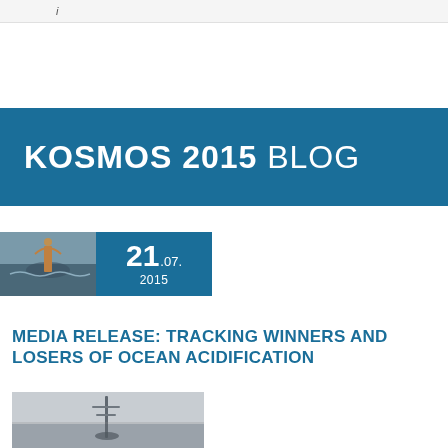i
KOSMOS 2015 BLOG
[Figure (photo): Small thumbnail photo of ocean equipment/structure at sea, left side]
21.07. 2015
MEDIA RELEASE: TRACKING WINNERS AND LOSERS OF OCEAN ACIDIFICATION
[Figure (photo): Photo of a tall slender buoy or weather mast at sea under grey sky]